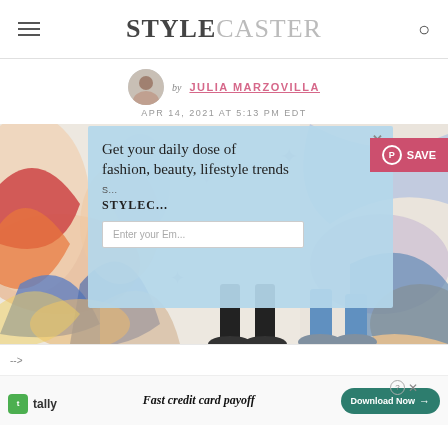STYLECASTER
by JULIA MARZOVILLA
APR 14, 2021 AT 5:13 PM EDT
[Figure (screenshot): StyleCaster website screenshot showing email signup popup overlay on a colorful abstract background image, with 'Get your daily dose of fashion, beauty, lifestyle trends' headline and email input, plus a Pinterest SAVE button in the top right.]
-->
[Figure (screenshot): Tally app advertisement banner with tally logo, 'Fast credit card payoff' tagline, and a 'Download Now' button.]